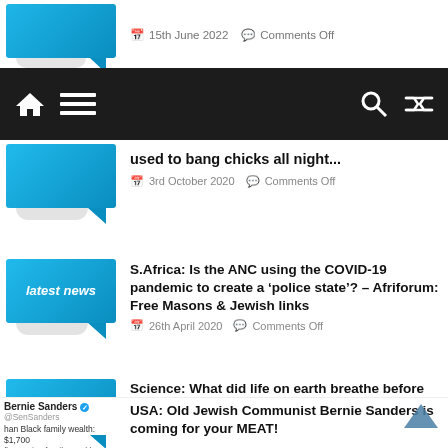[Figure (screenshot): Partial article thumbnail (blue speech bubble) at top of page]
15th June 2022   Comments Off
[Figure (screenshot): Website navigation bar with home, menu, search, and shuffle icons on dark background]
used to bang chicks all night...
3rd October 2020   Comments Off
[Figure (illustration): Latest news blue speech bubble thumbnail]
S.Africa: Is the ANC using the COVID-19 pandemic to create a ‘police state’? – Afriforum: Free Masons & Jewish links
26th April 2020   Comments Off
[Figure (illustration): Latest news blue speech bubble thumbnail]
Science: What did life on earth breathe before Oxygen? The answer: ARSENIC!!
1st October 2020   Comments Off
[Figure (screenshot): Bernie Sanders Twitter/social media post thumbnail showing text about Black family wealth and Latinx family wealth]
USA: Old Jewish Communist Bernie Sanders is coming for your MEAT!